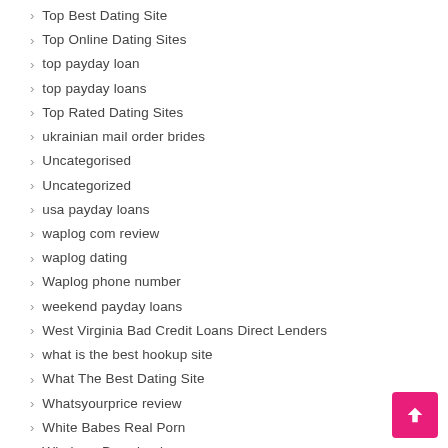Top Best Dating Site
Top Online Dating Sites
top payday loan
top payday loans
Top Rated Dating Sites
ukrainian mail order brides
Uncategorised
Uncategorized
usa payday loans
waplog com review
waplog dating
Waplog phone number
weekend payday loans
West Virginia Bad Credit Loans Direct Lenders
what is the best hookup site
What The Best Dating Site
Whatsyourprice review
White Babes Real Porn
Windows Downloads